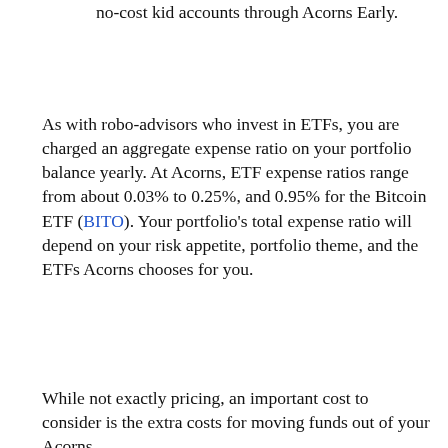no-cost kid accounts through Acorns Early.
As with robo-advisors who invest in ETFs, you are charged an aggregate expense ratio on your portfolio balance yearly. At Acorns, ETF expense ratios range from about 0.03% to 0.25%, and 0.95% for the Bitcoin ETF (BITO). Your portfolio’s total expense ratio will depend on your risk appetite, portfolio theme, and the ETFs Acorns chooses for you.
While not exactly pricing, an important cost to consider is the extra costs for moving funds out of your Acorns…